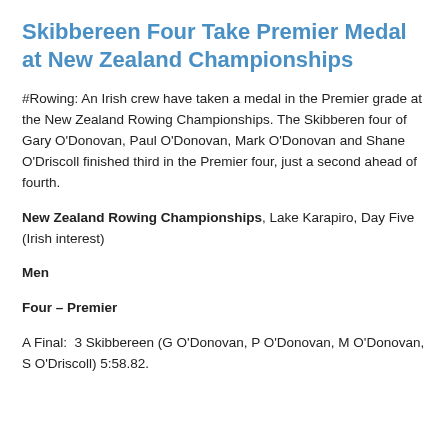Skibbereen Four Take Premier Medal at New Zealand Championships
#Rowing: An Irish crew have taken a medal in the Premier grade at the New Zealand Rowing Championships. The Skibberen four of Gary O'Donovan, Paul O'Donovan, Mark O'Donovan and Shane O'Driscoll finished third in the Premier four, just a second ahead of fourth.
New Zealand Rowing Championships, Lake Karapiro, Day Five (Irish interest)
Men
Four – Premier
A Final:  3 Skibbereen (G O'Donovan, P O'Donovan, M O'Donovan, S O'Driscoll) 5:58.82.